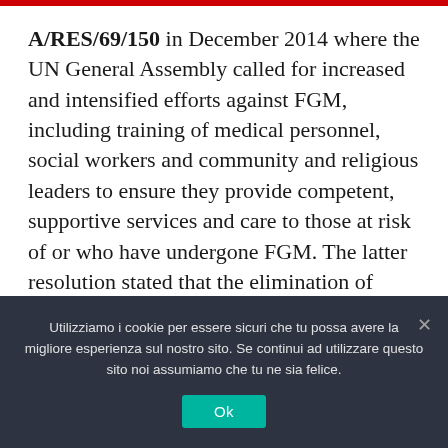A/RES/69/150 in December 2014 where the UN General Assembly called for increased and intensified efforts against FGM, including training of medical personnel, social workers and community and religious leaders to ensure they provide competent, supportive services and care to those at risk of or who have undergone FGM. The latter resolution stated that the elimination of FGM be given due consideration as a main issue in the elaboration of the post-2015 development
Utilizziamo i cookie per essere sicuri che tu possa avere la migliore esperienza sul nostro sito. Se continui ad utilizzare questo sito noi assumiamo che tu ne sia felice.